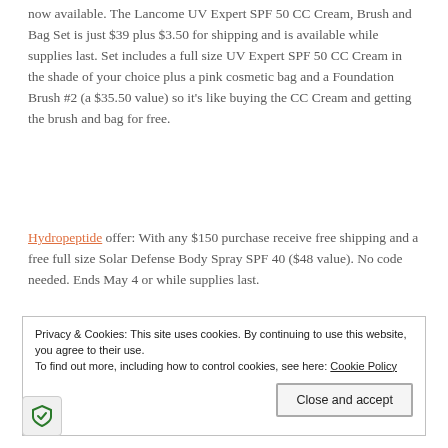now available. The Lancome UV Expert SPF 50 CC Cream, Brush and Bag Set is just $39 plus $3.50 for shipping and is available while supplies last. Set includes a full size UV Expert SPF 50 CC Cream in the shade of your choice plus a pink cosmetic bag and a Foundation Brush #2 (a $35.50 value) so it's like buying the CC Cream and getting the brush and bag for free.
Hydropeptide offer: With any $150 purchase receive free shipping and a free full size Solar Defense Body Spray SPF 40 ($48 value). No code needed. Ends May 4 or while supplies last.
Privacy & Cookies: This site uses cookies. By continuing to use this website, you agree to their use. To find out more, including how to control cookies, see here: Cookie Policy